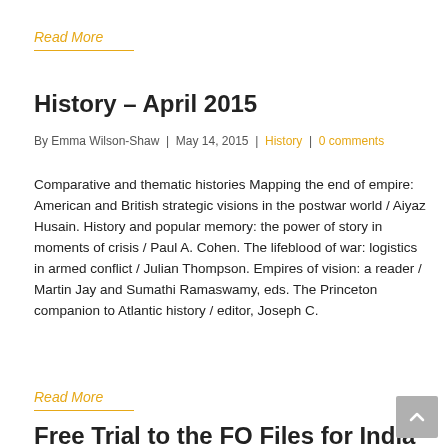Read More
History – April 2015
By Emma Wilson-Shaw | May 14, 2015 | History | 0 comments
Comparative and thematic histories Mapping the end of empire: American and British strategic visions in the postwar world / Aiyaz Husain. History and popular memory: the power of story in moments of crisis / Paul A. Cohen. The lifeblood of war: logistics in armed conflict / Julian Thompson. Empires of vision: a reader / Martin Jay and Sumathi Ramaswamy, eds. The Princeton companion to Atlantic history / editor, Joseph C.
Read More
Free Trial to the FO Files for India